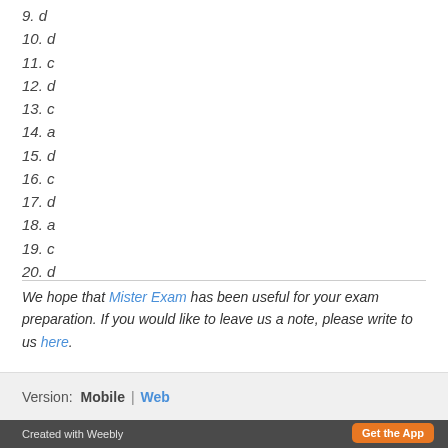9. d
10. d
11. c
12. d
13. c
14. a
15. d
16. c
17. d
18. a
19. c
20. d
We hope that Mister Exam has been useful for your exam preparation. If you would like to leave us a note, please write to us here.
Version: Mobile | Web
Created with Weebly  Get the App